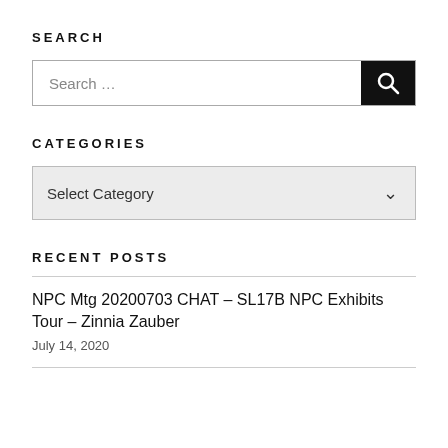SEARCH
[Figure (screenshot): Search input box with a black search button on the right containing a magnifying glass icon]
CATEGORIES
[Figure (screenshot): Dropdown select box showing 'Select Category' with a chevron arrow on the right, light grey background]
RECENT POSTS
NPC Mtg 20200703 CHAT – SL17B NPC Exhibits Tour – Zinnia Zauber
July 14, 2020